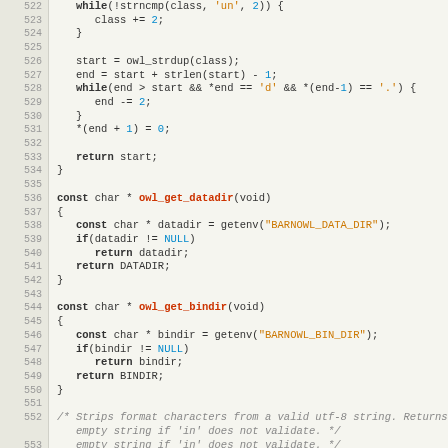[Figure (screenshot): Source code listing in C, lines 522-553, showing functions including owl_get_datadir and owl_get_bindir, displayed in a syntax-highlighted code editor style with line numbers.]